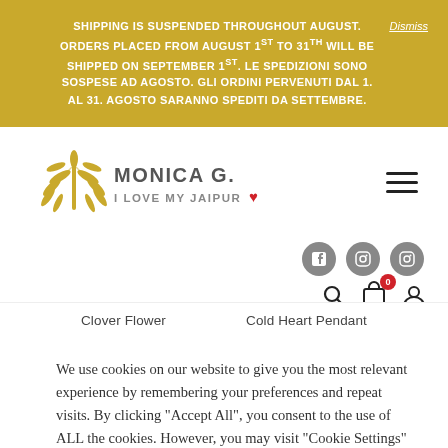SHIPPING IS SUSPENDED THROUGHOUT AUGUST. ORDERS PLACED FROM AUGUST 1st TO 31th WILL BE SHIPPED ON SEPTEMBER 1st. LE SPEDIZIONI SONO SOSPESE AD AGOSTO. GLI ORDINI PERVENUTI DAL 1. AL 31. AGOSTO SARANNO SPEDITI DA SETTEMBRE.
[Figure (logo): Monica G. I Love My Jaipur logo with golden leaf illustration]
Clover Flower
Cold Heart Pendant
We use cookies on our website to give you the most relevant experience by remembering your preferences and repeat visits. By clicking "Accept All", you consent to the use of ALL the cookies. However, you may visit "Cookie Settings" to provide a controlled consent.
Read More
Cookie Settings
Reject All
ACCEPT